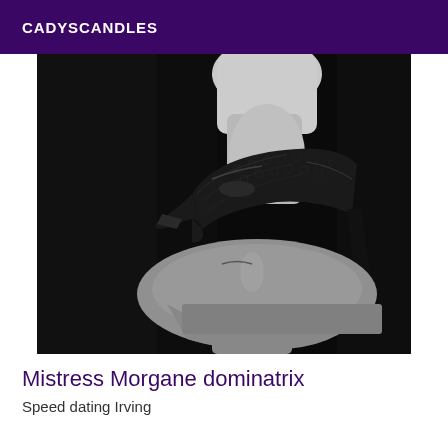CADYSCANDLES
[Figure (photo): Black and white photograph of a woman's leg wearing a black stiletto high heel shoe pressing down on a man's face/neck who is lying down]
Mistress Morgane dominatrix
Speed dating Irving